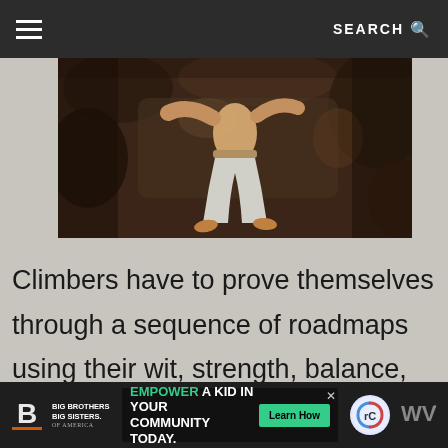☰  SEARCH 🔍
[Figure (photo): A rock climber gripping a rock face, viewed from below, wearing light-colored pants and climbing shoes, against dark rocky background]
Climbers have to prove themselves through a sequence of roadmaps using their wit, strength, balance, and technique. There are multiple options available for these nerve-shaking and thrilling activities in the United States. This diversity of bouldering
Big Brothers Big Sisters of America | EMPOWER A KID IN YOUR COMMUNITY TODAY. | Learn How | [reCAPTCHA]